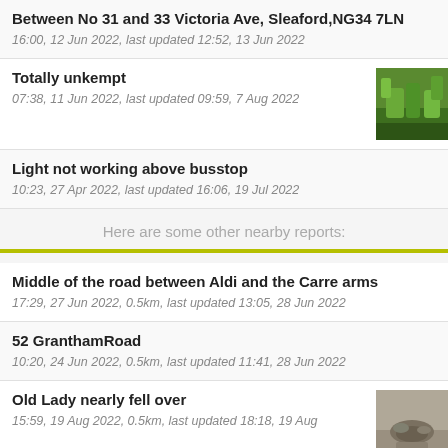Between No 31 and 33 Victoria Ave, Sleaford,NG34 7LN
16:00, 12 Jun 2022, last updated 12:52, 13 Jun 2022
Totally unkempt
07:38, 11 Jun 2022, last updated 09:59, 7 Aug 2022
Light not working above busstop
10:23, 27 Apr 2022, last updated 16:06, 19 Jul 2022
Here are some other nearby reports:
Middle of the road between Aldi and the Carre arms
17:29, 27 Jun 2022, 0.5km, last updated 13:05, 28 Jun 2022
52 GranthamRoad
10:20, 24 Jun 2022, 0.5km, last updated 11:41, 28 Jun 2022
Old Lady nearly fell over
15:59, 19 Aug 2022, 0.5km, last updated 18:18, 19 Aug